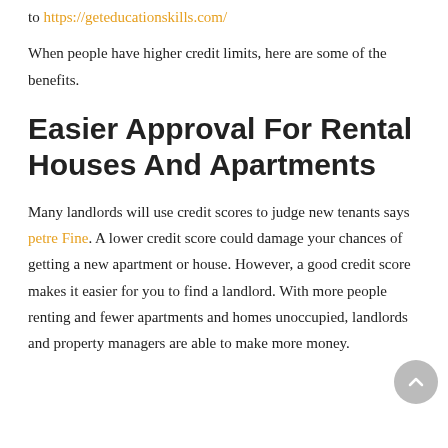to https://geteducationskills.com/
When people have higher credit limits, here are some of the benefits.
Easier Approval For Rental Houses And Apartments
Many landlords will use credit scores to judge new tenants says petre Fine. A lower credit score could damage your chances of getting a new apartment or house. However, a good credit score makes it easier for you to find a landlord. With more people renting and fewer apartments and homes unoccupied, landlords and property managers are able to make more money.